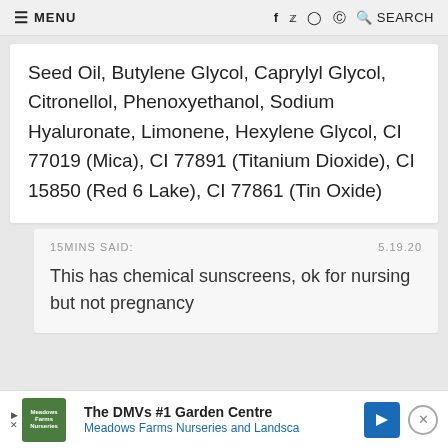≡ MENU   f  Twitter  Instagram  Pinterest  🔍 SEARCH
Seed Oil, Butylene Glycol, Caprylyl Glycol, Citronellol, Phenoxyethanol, Sodium Hyaluronate, Limonene, Hexylene Glycol, CI 77019 (Mica), CI 77891 (Titanium Dioxide), CI 15850 (Red 6 Lake), CI 77861 (Tin Oxide)
15MINS SAID:   5.19.20
This has chemical sunscreens, ok for nursing but not pregnancy
[Figure (infographic): Advertisement banner for The DMVs #1 Garden Centre - Meadows Farms Nurseries and Landscape, with green logo, blue arrow button, and close button]